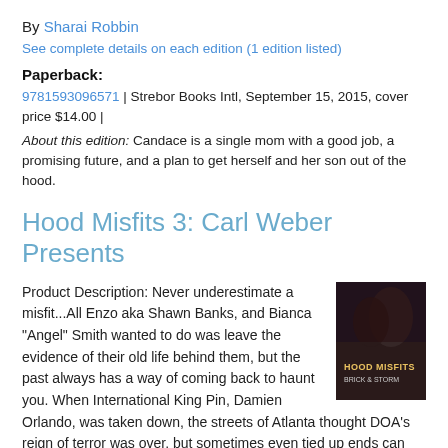By Sharai Robbin
See complete details on each edition (1 edition listed)
Paperback:
9781593096571 | Strebor Books Intl, September 15, 2015, cover price $14.00 |
About this edition: Candace is a single mom with a good job, a promising future, and a plan to get herself and her son out of the hood.
Hood Misfits 3: Carl Weber Presents
[Figure (photo): Book cover for Hood Misfits 3 showing dark background with figures]
Product Description: Never underestimate a misfit...All Enzo aka Shawn Banks, and Bianca "Angel" Smith wanted to do was leave the evidence of their old life behind them, but the past always has a way of coming back to haunt you. When International King Pin, Damien Orlando, was taken down, the streets of Atlanta thought DOA's reign of terror was over, but sometimes even tied up ends can unravel...read more
By Brick and Storm
See complete details on each edition (1 edition listed)